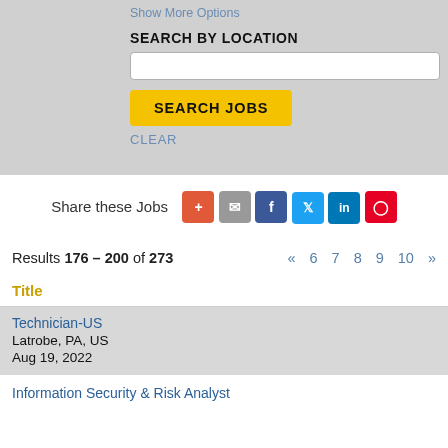Show More Options
SEARCH BY LOCATION
SEARCH JOBS
CLEAR
Share these Jobs
Results 176 – 200 of 273  « 6 7 8 9 10 »
Title
Technician-US
Latrobe, PA, US
Aug 19, 2022
Information Security & Risk Analyst